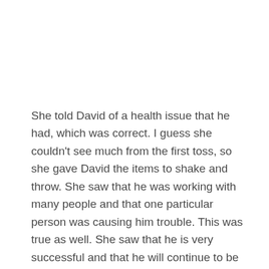She told David of a health issue that he had, which was correct. I guess she couldn't see much from the first toss, so she gave David the items to shake and throw. She saw that he was working with many people and that one particular person was causing him trouble. This was true as well. She saw that he is very successful and that he will continue to be as successful in the future. He is very healthy and his future is bright!
My reading was just as positive and good. At the beginning of my reading, she warn me of a possible